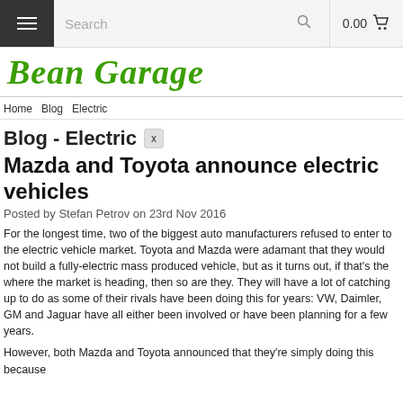≡  Search   0.00  🛒
Bean Garage
Home Blog Electric
Blog - Electric  x
Mazda and Toyota announce electric vehicles
Posted by Stefan Petrov on 23rd Nov 2016
For the longest time, two of the biggest auto manufacturers refused to enter to the electric vehicle market. Toyota and Mazda were adamant that they would not build a fully-electric mass produced vehicle, but as it turns out, if that's the where the market is heading, then so are they. They will have a lot of catching up to do as some of their rivals have been doing this for years: VW, Daimler, GM and Jaguar have all either been involved or have been planning for a few years.
However, both Mazda and Toyota announced that they're simply doing this because